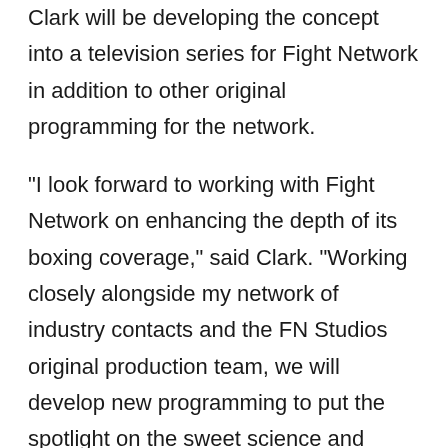Clark will be developing the concept into a television series for Fight Network in addition to other original programming for the network.
"I look forward to working with Fight Network on enhancing the depth of its boxing coverage," said Clark. "Working closely alongside my network of industry contacts and the FN Studios original production team, we will develop new programming to put the spotlight on the sweet science and topics that are often overshadowed in mainstream coverage. With its recent resurgence in mainstream popularity, this as an opportune time to bring Fight Network subscribers unprecedented coverage of their favorite boxing stars, both inside the ring and behind the scenes."